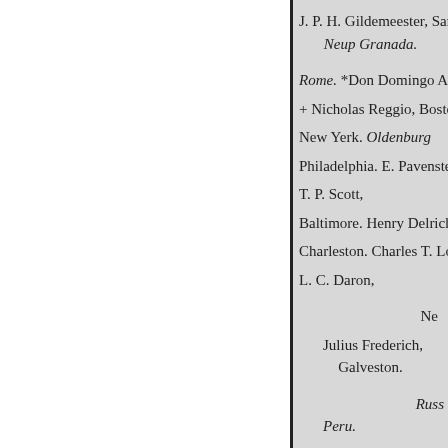J. P. H. Gildemeester, San F
Neup Granada.
Rome. *Don Domingo Acosta
+ Nicholas Reggio, Boston. G
New Yerk. Oldenburg
Philadelphia. E. Pavenstedt, N
T. P. Scott,
Baltimore. Henry Delrichs, Ba
Charleston. Charles T. Lownd
L. C. Daron,
Ne
Julius Frederich,
Galveston.
Russ
Peru.
* Alex. Evstaphieve, New Yor
Geo. E. Runhardt, New York.